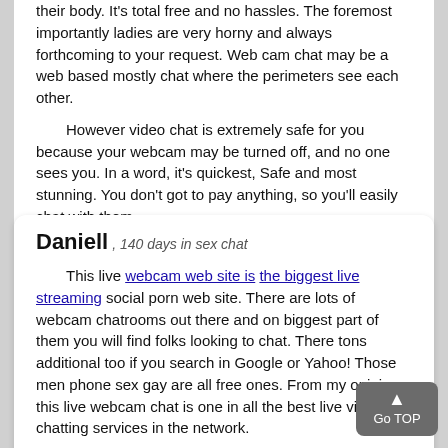their body. It's total free and no hassles. The foremost importantly ladies are very horny and always forthcoming to your request. Web cam chat may be a web based mostly chat where the perimeters see each other.

However video chat is extremely safe for you because your webcam may be turned off, and no one sees you. In a word, it's quickest, Safe and most stunning. You don't got to pay anything, so you'll easily chat with them.

I suggested this site who needs a good adult cams website.
Daniell, 140 days in sex chat
This live webcam web site is the biggest live streaming social porn web site. There are lots of webcam chatrooms out there and on biggest part of them you will find folks looking to chat. There tons additional too if you search in Google or Yahoo! Those men phone sex gay are all free ones. From my opinion - this live webcam chat is one in all the best live video chatting services in the network.

The girls are terribly lovely also sexy. I'm registered to the present website over the last two years and I'm extremely enjoy it. Really it's amazing to speak with them.

The Models are extremely helpful and forthcoming. Continually prepared erochat1.com for you. Over all, it's been able to achieve my pleasure.